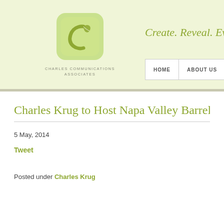[Figure (logo): Charles Communications Associates logo: green rounded square with a stylized 'c' and leaf mark]
CHARLES COMMUNICATIONS
ASSOCIATES
Create. Reveal. Evol…
HOME   ABOUT US   W…
Charles Krug to Host Napa Valley Barrel Au…
5 May, 2014
Tweet
Posted under Charles Krug